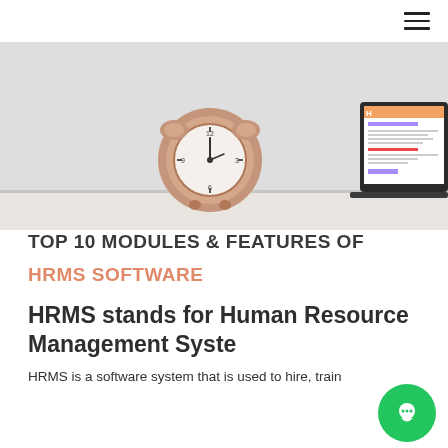[Figure (photo): Hero image showing a rose-gold alarm clock centered on a white surface, with a laptop displaying an HRMS-style UI visible on the right side. Light grey/white background.]
TOP 10 MODULES & FEATURES OF
HRMS SOFTWARE
HRMS stands for Human Resource Management Syste…
HRMS is a software system that is used to hire, train